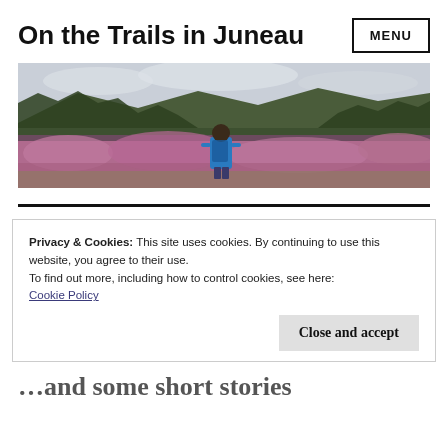On the Trails in Juneau
[Figure (photo): Person in blue jacket walking through a field of pink/purple wildflowers with forested hills and cloudy sky in the background]
Privacy & Cookies: This site uses cookies. By continuing to use this website, you agree to their use.
To find out more, including how to control cookies, see here:
Cookie Policy
Close and accept
…and some short stories